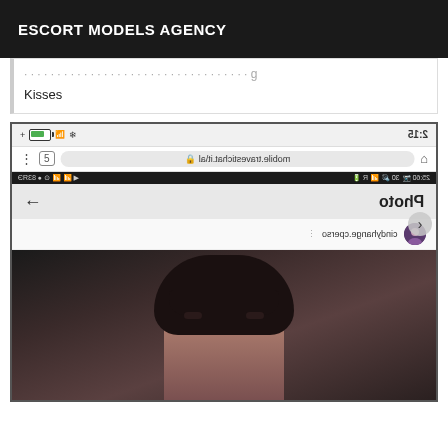ESCORT MODELS AGENCY
Kisses
[Figure (screenshot): Screenshot of a mobile browser showing mobile.travestichat.it/al with a chat interface showing a photo entry from cindyhange.cperso, and a portrait photo of a person with dark hair and bangs]